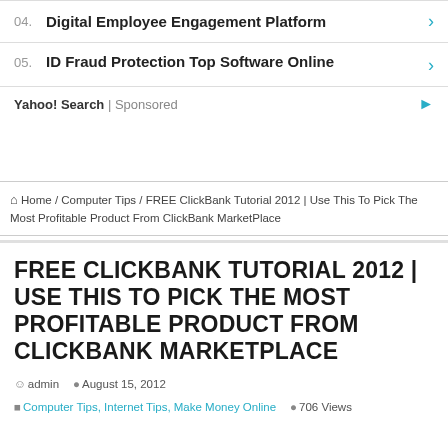04. Digital Employee Engagement Platform
05. ID Fraud Protection Top Software Online
Yahoo! Search | Sponsored
🏠 Home / Computer Tips / FREE ClickBank Tutorial 2012 | Use This To Pick The Most Profitable Product From ClickBank MarketPlace
FREE CLICKBANK TUTORIAL 2012 | USE THIS TO PICK THE MOST PROFITABLE PRODUCT FROM CLICKBANK MARKETPLACE
admin  August 15, 2012
Computer Tips, Internet Tips, Make Money Online  706 Views